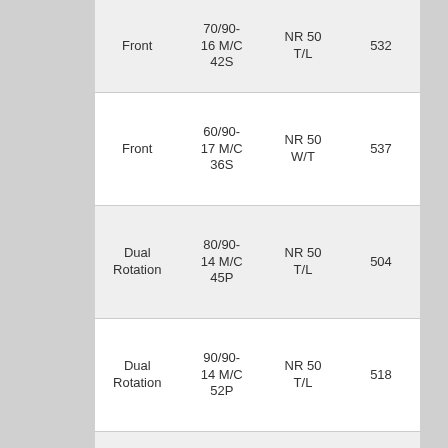| Front | 70/90-
16 M/C
42S | NR 50
T/L | 532 |
| Front | 60/90-
17 M/C
36S | NR 50
W/T | 537 |
| Dual
Rotation | 80/90-
14 M/C
45P | NR 50
T/L | 504 |
| Dual
Rotation | 90/90-
14 M/C
52P | NR 50
T/L | 518 |
| Dual
Rotation | 80/90-
16 M/C
48S | NR 50
T/L | 549 |
| Rear | 90/80- | NR 50 |  |